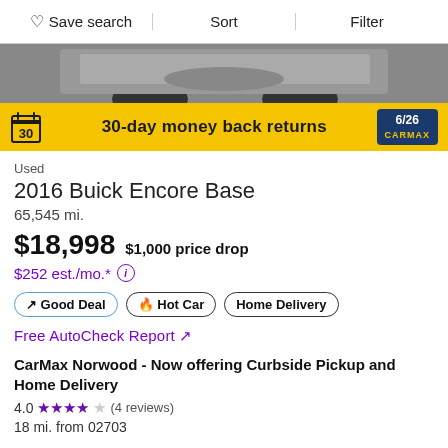Save search   Sort   Filter
[Figure (photo): Car photo (bottom view of vehicle) with yellow banner reading '30-day money back returns' and CarMax logo with slide indicator 6/26]
Used
2016 Buick Encore Base
65,545 mi.
$18,998   $1,000 price drop
$252 est./mo.*
Good Deal   Hot Car   Home Delivery
Free AutoCheck Report ↗
CarMax Norwood - Now offering Curbside Pickup and Home Delivery
4.0 ★★★★☆ (4 reviews)
18 mi. from 02703